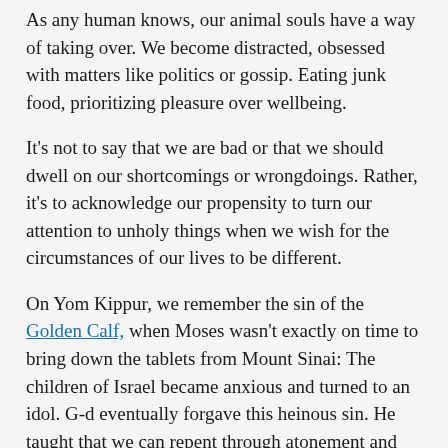As any human knows, our animal souls have a way of taking over. We become distracted, obsessed with matters like politics or gossip. Eating junk food, prioritizing pleasure over wellbeing.
It's not to say that we are bad or that we should dwell on our shortcomings or wrongdoings. Rather, it's to acknowledge our propensity to turn our attention to unholy things when we wish for the circumstances of our lives to be different.
On Yom Kippur, we remember the sin of the Golden Calf, when Moses wasn't exactly on time to bring down the tablets from Mount Sinai: The children of Israel became anxious and turned to an idol. G-d eventually forgave this heinous sin. He taught that we can repent through atonement and prayer.
Yom Kippur, often confused as a sorrowful day, is quite the opposite. The miracle of all our lives is that we can be